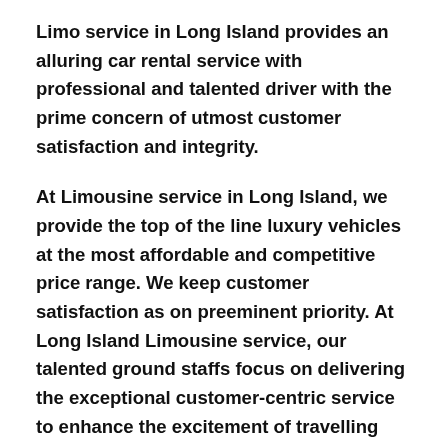Limo service in Long Island provides an alluring car rental service with professional and talented driver with the prime concern of utmost customer satisfaction and integrity.
At Limousine service in Long Island, we provide the top of the line luxury vehicles at the most affordable and competitive price range. We keep customer satisfaction as on preeminent priority. At Long Island Limousine service, our talented ground staffs focus on delivering the exceptional customer-centric service to enhance the excitement of travelling with us.
If you are coming to Irving, NY to attend the corporate meetings or business transactions, we at